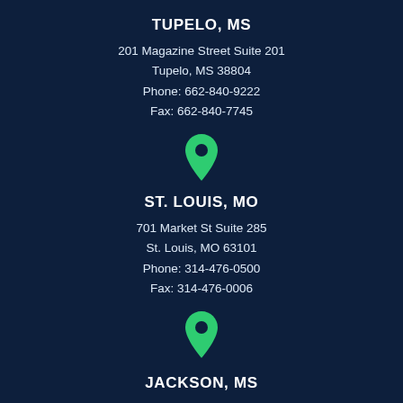TUPELO, MS
201 Magazine Street Suite 201
Tupelo, MS 38804
Phone: 662-840-9222
Fax: 662-840-7745
[Figure (illustration): Green map pin / location marker icon]
ST. LOUIS, MO
701 Market St Suite 285
St. Louis, MO 63101
Phone: 314-476-0500
Fax: 314-476-0006
[Figure (illustration): Green map pin / location marker icon]
JACKSON, MS